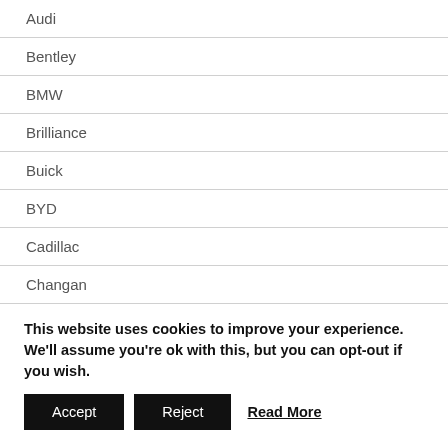Audi
Bentley
BMW
Brilliance
Buick
BYD
Cadillac
Changan
Chery
Chevrolet
Chrysler
This website uses cookies to improve your experience. We'll assume you're ok with this, but you can opt-out if you wish.
Accept | Reject | Read More